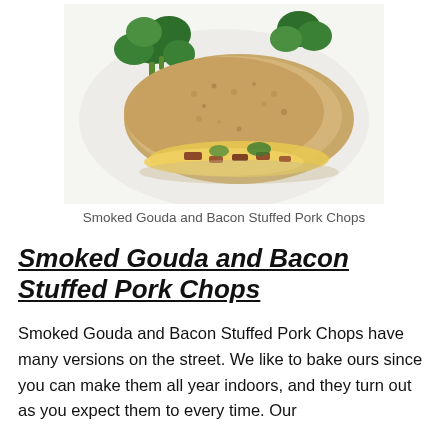[Figure (photo): A breaded, stuffed pork chop with melted cheese and bacon visible inside, served with broccoli florets on a white plate]
Smoked Gouda and Bacon Stuffed Pork Chops
Smoked Gouda and Bacon Stuffed Pork Chops
Smoked Gouda and Bacon Stuffed Pork Chops have many versions on the street. We like to bake ours since you can make them all year indoors, and they turn out as you expect them to every time. Our